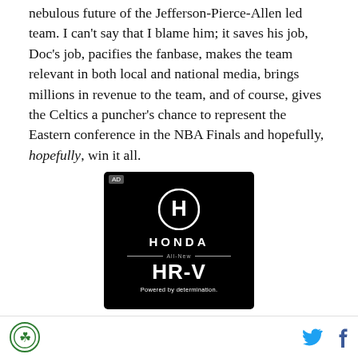nebulous future of the Jefferson-Pierce-Allen led team. I can't say that I blame him; it saves his job, Doc's job, pacifies the fanbase, makes the team relevant in both local and national media, brings millions in revenue to the team, and of course, gives the Celtics a puncher's chance to represent the Eastern conference in the NBA Finals and hopefully, hopefully, win it all.
[Figure (photo): Honda HR-V advertisement on black background with Honda logo, 'All-New HR-V' text and 'Powered by determination.' tagline]
SB Nation logo | Twitter icon | Facebook icon